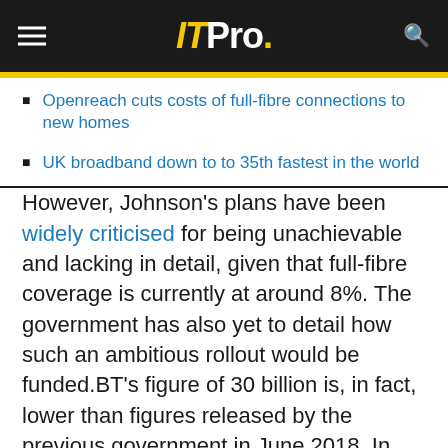IT Pro.
Openreach cuts costs of full-fibre connections to new homes
UK broadband down to to 35th fastest in the world
However, Johnson's plans have been widely criticised for being unachievable and lacking in detail, given that full-fibre coverage is currently at around 8%. The government has also yet to detail how such an ambitious rollout would be funded.BT's figure of 30 billion is, in fact, lower than figures released by the previous government in June 2018. In that report, it was suggested that delivering 90% coverage by 2033 would cost approximately 33 billion, although the bulk